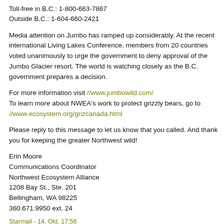Toll-free in B.C.: 1-800-663-7867
Outside B.C.: 1-604-660-2421
Media attention on Jumbo has ramped up considerably. At the recent international Living Lakes Conference, members from 20 countries voted unanimously to urge the government to deny approval of the Jumbo Glacier resort. The world is watching closely as the B.C. government prepares a decision.
For more information visit //www.jumbowild.com/
To learn more about NWEA's work to protect grizzly bears, go to //www.ecosystem.org/grizcanada.html
Please reply to this message to let us know that you called. And thank you for keeping the greater Northwest wild!
Erin Moore
Communications Coordinator
Northwest Ecosystem Alliance
1208 Bay St., Ste. 201
Bellingham, WA 98225
360.671.9950 ext. 24
Starmail - 14. Okt, 17:56
U.S. COMMISSION ON CIVIL RIGHTS ASSAILS BUSH ADMINISTRATION RECORD ON CIVIL RIGHTS
//lingo.deno.fl?...